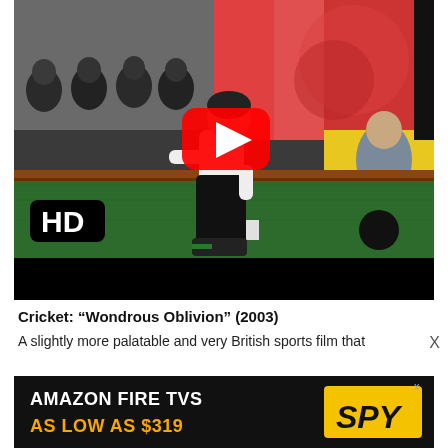[Figure (screenshot): YouTube video thumbnail showing a person crouching on a green bowling green/lawn bowls surface, with audience in background, colorful backdrop, HD badge in lower left. YouTube red play button overlay in center.]
Cricket: “Wondrous Oblivion” (2003)
A slightly more palatable and very British sports film that
[Figure (screenshot): Advertisement banner: AMAZON FIRE TVS AS LOW AS $319, with SPY logo in yellow on right side. X close button in upper right.]